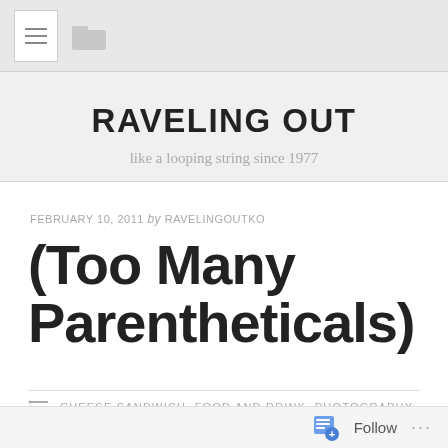[Figure (screenshot): Navigation bar with hamburger menu button and folder icon on grey background]
RAVELING OUT
like a looping string since 1977
FEBRUARY 10, 2011 by RAVELINGOUTKO
(Too Many Parentheticals)
CHEESE SANDWICH, FOOD AND DRINK, PHOTOGRAPHY
Follow ...